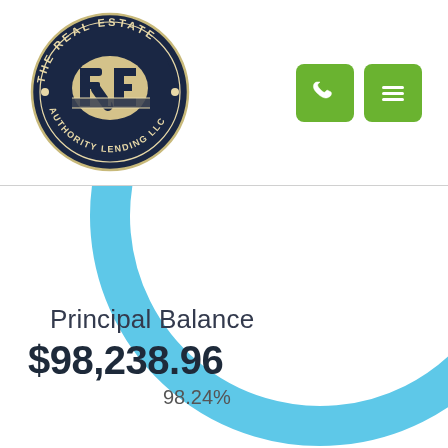[Figure (logo): The Real Estate Authority Lending LLC circular logo with dark navy background and beige/cream RE monogram]
[Figure (infographic): Two green rounded-square icon buttons: phone icon and hamburger menu icon]
[Figure (donut-chart): Partial donut/arc chart in sky blue showing 98.24% principal balance remaining, arc spans approximately 270 degrees]
Principal Balance
$98,238.96
98.24%